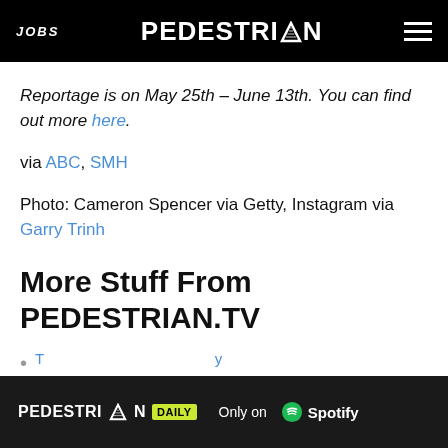JOBS  PEDESTRIAN  [menu]
Reportage is on May 25th – June 13th. You can find out more here.
via ABC, SMH
Photo: Cameron Spencer via Getty, Instagram via Garry Trinh
More Stuff From PEDESTRIAN.TV
[Figure (screenshot): Advertisement banner for PEDESTRIAN DAILY Only on Spotify]
• [link text partially visible]